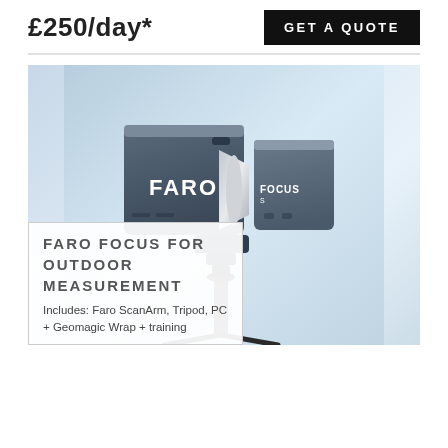£250/day*
GET A QUOTE
[Figure (photo): FARO Focus 3D laser scanner mounted on a tripod, shown against a light blue gradient background. The device shows 'FARO' branding on the left panel and 'FOCUS' on the right panel.]
FARO FOCUS FOR OUTDOOR MEASUREMENT
Includes: Faro ScanArm, Tripod, PC + Geomagic Wrap + training